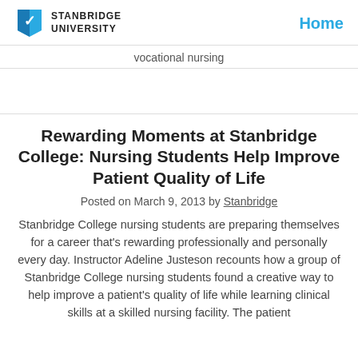STANBRIDGE UNIVERSITY | Home
vocational nursing
Rewarding Moments at Stanbridge College: Nursing Students Help Improve Patient Quality of Life
Posted on March 9, 2013 by Stanbridge
Stanbridge College nursing students are preparing themselves for a career that's rewarding professionally and personally every day. Instructor Adeline Justeson recounts how a group of Stanbridge College nursing students found a creative way to help improve a patient's quality of life while learning clinical skills at a skilled nursing facility. The patient